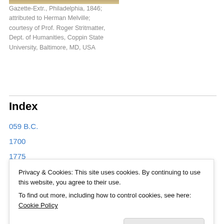Gazette-Extr., Philadelphia, 1846; attributed to Herman Melville; courtesy of Prof. Roger Stritmatter, Dept. of Humanities, Coppin State University, Baltimore, MD, USA
Index
059 B.C.
1700
1775
1827
Privacy & Cookies: This site uses cookies. By continuing to use this website, you agree to their use. To find out more, including how to control cookies, see here: Cookie Policy